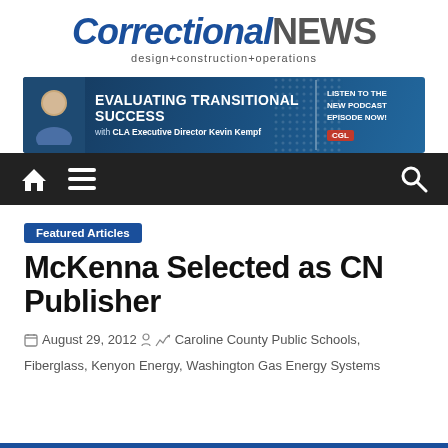CorrectionalNEWS design+construction+operations
[Figure (infographic): Advertisement banner: EVALUATING TRANSITIONAL SUCCESS with CLA Executive Director Kevin Kempf — LISTEN TO THE NEW PODCAST EPISODE NOW! CGL]
[Figure (infographic): Navigation bar with home icon, hamburger menu icon, and search icon on dark background]
Featured Articles
McKenna Selected as CN Publisher
August 29, 2012  Caroline County Public Schools, Fiberglass, Kenyon Energy, Washington Gas Energy Systems